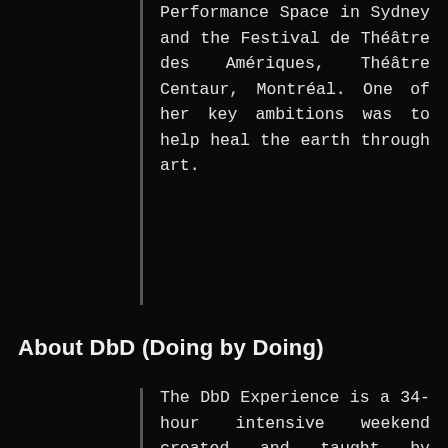Performance Space in Sydney and the Festival de Théâtre des Amériques, Théâtre Centaur, Montréal. One of her key ambitions was to help heal the earth through art.
About DbD (Doing by Doing)
The DbD Experience is a 34-hour intensive weekend created and taught by interdisciplinary artist Rachel Rosenthal. Ms. Rosenthal developed the method applied to the DbD during the 12 years of training people for her